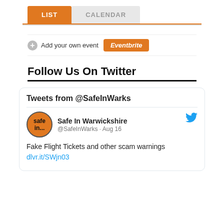[Figure (screenshot): Tab navigation with LIST (orange, active) and CALENDAR (grey) tabs]
Add your own event Eventbrite
Follow Us On Twitter
[Figure (screenshot): Twitter widget showing tweets from @SafeInWarks. Tweet from Safe In Warwickshire (@SafeInWarks · Aug 16): 'Fake Flight Tickets and other scam warnings dlvr.it/SWjn03']